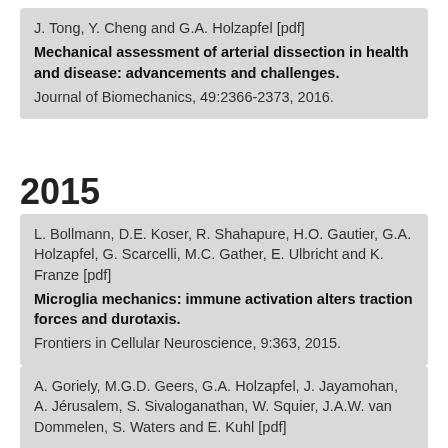J. Tong, Y. Cheng and G.A. Holzapfel [pdf] Mechanical assessment of arterial dissection in health and disease: advancements and challenges. Journal of Biomechanics, 49:2366-2373, 2016.
2015
L. Bollmann, D.E. Koser, R. Shahapure, H.O. Gautier, G.A. Holzapfel, G. Scarcelli, M.C. Gather, E. Ulbricht and K. Franze [pdf] Microglia mechanics: immune activation alters traction forces and durotaxis. Frontiers in Cellular Neuroscience, 9:363, 2015.
A. Goriely, M.G.D. Geers, G.A. Holzapfel, J. Jayamohan, A. Jérusalem, S. Sivaloganathan, W. Squier, J.A.W. van Dommelen, S. Waters and E. Kuhl [pdf]